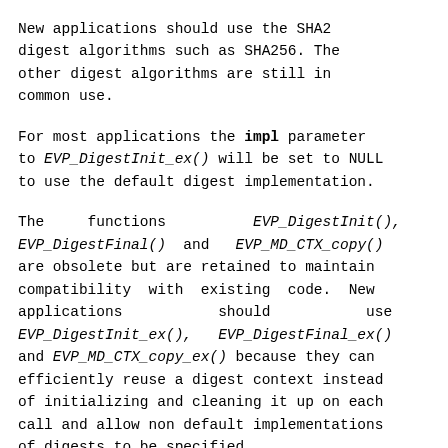New applications should use the SHA2 digest algorithms such as SHA256. The other digest algorithms are still in common use.
For most applications the impl parameter to EVP_DigestInit_ex() will be set to NULL to use the default digest implementation.
The functions EVP_DigestInit(), EVP_DigestFinal() and EVP_MD_CTX_copy() are obsolete but are retained to maintain compatibility with existing code. New applications should use EVP_DigestInit_ex(), EVP_DigestFinal_ex() and EVP_MD_CTX_copy_ex() because they can efficiently reuse a digest context instead of initializing and cleaning it up on each call and allow non default implementations of digests to be specified.